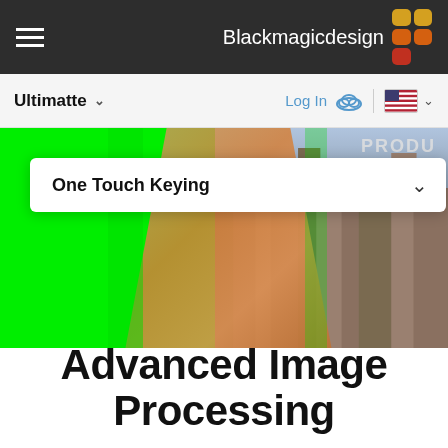Blackmagicdesign
Ultimatte  Log In
[Figure (screenshot): Hero image showing a woman in an orange dress being keyed out from a green screen background, with a city skyline composite background. A dropdown menu overlay shows 'One Touch Keying' with a chevron icon.]
Advanced Image Processing